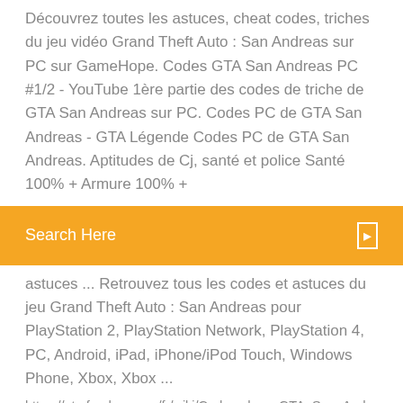Découvrez toutes les astuces, cheat codes, triches du jeu vidéo Grand Theft Auto : San Andreas sur PC sur GameHope. Codes GTA San Andreas PC #1/2 - YouTube 1ère partie des codes de triche de GTA San Andreas sur PC. Codes PC de GTA San Andreas - GTA Légende Codes PC de GTA San Andreas. Aptitudes de Cj, santé et police Santé 100% + Armure 100% +
[Figure (other): Orange search bar with text 'Search Here' and a small icon on the right]
astuces ... Retrouvez tous les codes et astuces du jeu Grand Theft Auto : San Andreas pour PlayStation 2, PlayStation Network, PlayStation 4, PC, Android, iPad, iPhone/iPod Touch, Windows Phone, Xbox, Xbox ...
https://gta.fandom.com/fr/wiki/Codes_dans_GTA_San_Andreas_(PC https://gaming.gentside.com/gta/gta-san-andreas-pc-tous-les-codes-cheats-et-astuces-pour-regner-sur-los-santos_art8816.html https://www.gamekult.com/jeux/grand-theft-auto-san-andreas-3010001510/astuces.html